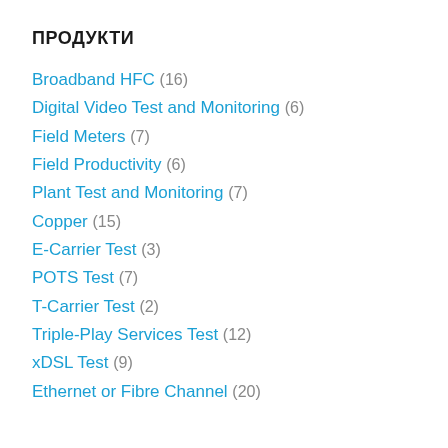ПРОДУКТИ
Broadband HFC (16)
Digital Video Test and Monitoring (6)
Field Meters (7)
Field Productivity (6)
Plant Test and Monitoring (7)
Copper (15)
E-Carrier Test (3)
POTS Test (7)
T-Carrier Test (2)
Triple-Play Services Test (12)
xDSL Test (9)
Ethernet or Fibre Channel (20)